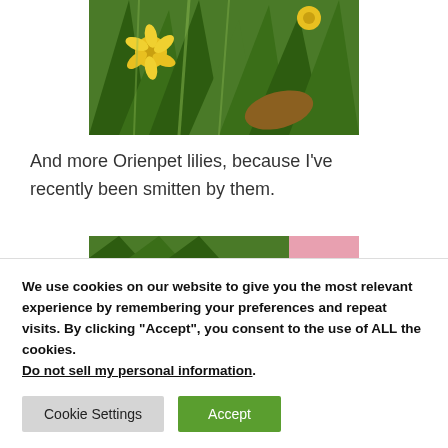[Figure (photo): Photograph of yellow Orienpet lily flowers blooming among green foliage and leaves]
And more Orienpet lilies, because I’ve recently been smitten by them.
[Figure (photo): Partial view of another flower photo, partially obscured by cookie banner]
We use cookies on our website to give you the most relevant experience by remembering your preferences and repeat visits. By clicking “Accept”, you consent to the use of ALL the cookies.
Do not sell my personal information.